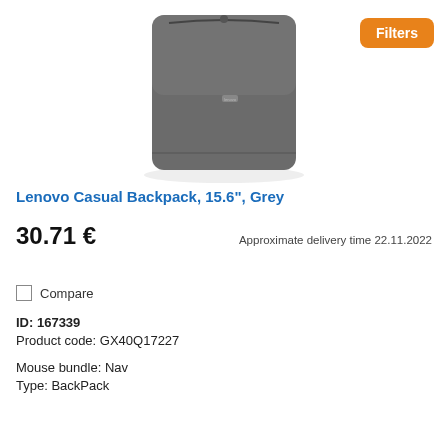[Figure (photo): Lenovo grey casual backpack product photo, top portion visible showing a dark grey fabric backpack with zipper against white background]
Lenovo Casual Backpack, 15.6", Grey
30.71 €
Approximate delivery time 22.11.2022
Compare
ID: 167339
Product code: GX40Q17227
Mouse bundle: Nav
Type: BackPack